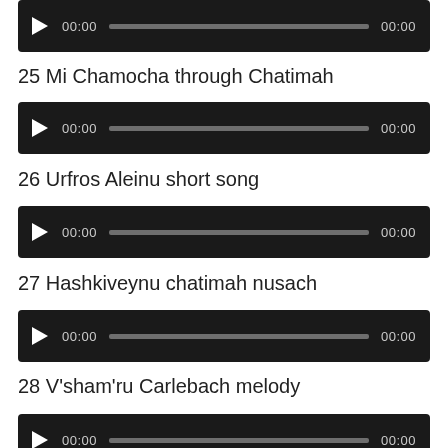[Figure (other): Audio player widget with play button, time 00:00, progress bar, and end time 00:00]
25 Mi Chamocha through Chatimah
[Figure (other): Audio player widget with play button, time 00:00, progress bar, and end time 00:00]
26 Urfros Aleinu short song
[Figure (other): Audio player widget with play button, time 00:00, progress bar, and end time 00:00]
27 Hashkiveynu chatimah nusach
[Figure (other): Audio player widget with play button, time 00:00, progress bar, and end time 00:00]
28 V'sham'ru Carlebach melody
[Figure (other): Audio player widget with play button, time 00:00, progress bar, and end time 00:00 (partially visible)]